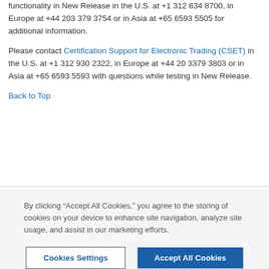functionality in New Release in the U.S. at +1 312 634 8700, in Europe at +44 203 379 3754 or in Asia at +65 6593 5505 for additional information.
Please contact Certification Support for Electronic Trading (CSET) in the U.S. at +1 312 930 2322, in Europe at +44 20 3379 3803 or in Asia at +65 6593 5593 with questions while testing in New Release.
Back to Top
By clicking “Accept All Cookies,” you agree to the storing of cookies on your device to enhance site navigation, analyze site usage, and assist in our marketing efforts.